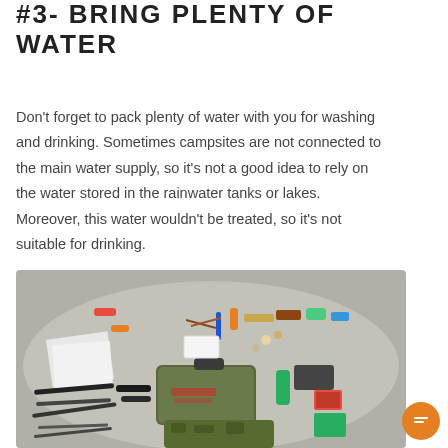#3- BRING PLENTY OF WATER
Don't forget to pack plenty of water with you for washing and drinking. Sometimes campsites are not connected to the main water supply, so it's not a good idea to rely on the water stored in the rainwater tanks or lakes. Moreover, this water wouldn't be treated, so it's not suitable for drinking.
[Figure (photo): A flat rock surface covered with an array of camping and survival gear items including a green bag, camouflage bag, tools, first aid items, knives, and various small supplies laid out flat.]